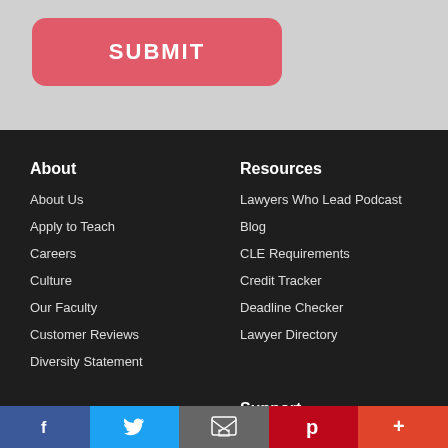[Figure (other): Submit button — red/pink rounded rectangle with white bold text SUBMIT on grey background]
About
About Us
Apply to Teach
Careers
Culture
Our Faculty
Customer Reviews
Diversity Statement
Resources
Lawyers Who Lead Podcast
Blog
CLE Requirements
Credit Tracker
Deadline Checker
Lawyer Directory
Support
[Figure (other): Social sharing bar with Facebook, Twitter, Email, Pinterest, and More (+) buttons]